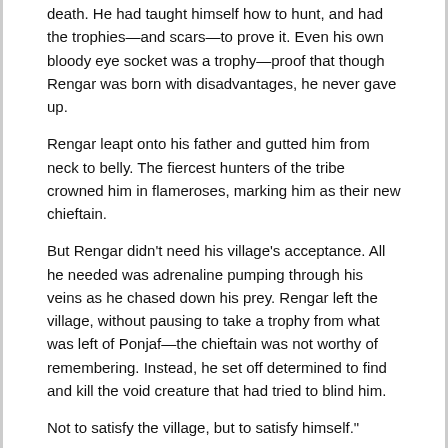death. He had taught himself how to hunt, and had the trophies—and scars—to prove it. Even his own bloody eye socket was a trophy—proof that though Rengar was born with disadvantages, he never gave up.
Rengar leapt onto his father and gutted him from neck to belly. The fiercest hunters of the tribe crowned him in flameroses, marking him as their new chieftain.
But Rengar didn't need his village's acceptance. All he needed was adrenaline pumping through his veins as he chased down his prey. Rengar left the village, without pausing to take a trophy from what was left of Ponjaf—the chieftain was not worthy of remembering. Instead, he set off determined to find and kill the void creature that had tried to blind him.
Not to satisfy the village, but to satisfy himself."
Story - Prey
From Rengar's Universe page - Prey
[Figure (photo): Black and white photo strip showing a creature or character, partially visible at the bottom of the page.]